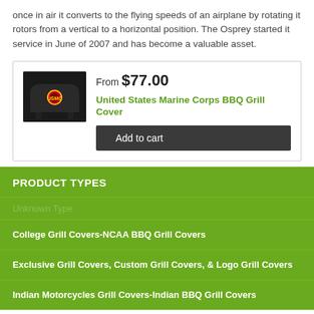once in air it converts to the flying speeds of an airplane by rotating it rotors from a vertical to a horizontal position.  The Osprey started it service in June of 2007 and has become a valuable asset.
[Figure (screenshot): Product card showing United States Marine Corps BBQ Grill Cover with price From $77.00, a black grill cover image with USMC emblem, and an Add to cart button]
PRODUCT TYPES
Unknown Type
College Grill Covers-NCAA BBQ Grill Covers
Exclusive Grill Covers, Custom Grill Covers, & Logo Grill Covers
Indian Motorcycles Grill Covers-Indian BBQ Grill Covers